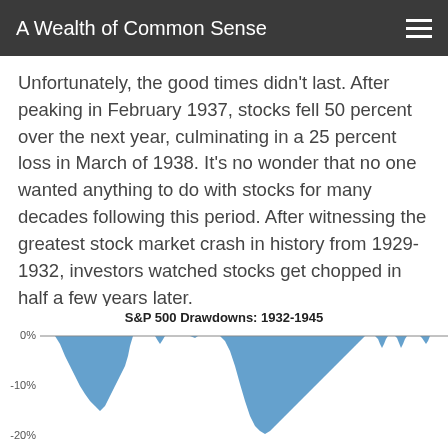A Wealth of Common Sense
Unfortunately, the good times didn't last. After peaking in February 1937, stocks fell 50 percent over the next year, culminating in a 25 percent loss in March of 1938. It's no wonder that no one wanted anything to do with stocks for many decades following this period. After witnessing the greatest stock market crash in history from 1929-1932, investors watched stocks get chopped in half a few years later.
[Figure (area-chart): Area chart showing S&P 500 drawdowns from 1932 to 1945, with values ranging from 0% to approximately -20% or below. The chart shows two major drawdown periods with the area filled in blue.]